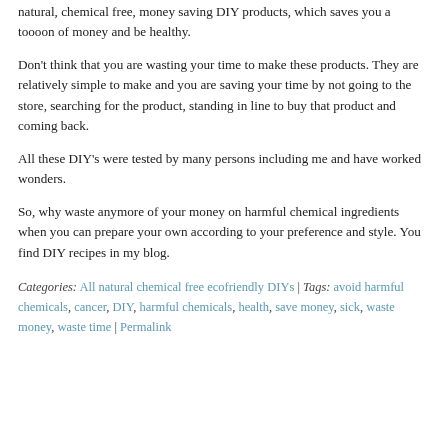natural, chemical free, money saving DIY products, which saves you a toooon of money and be healthy.
Don't think that you are wasting your time to make these products. They are relatively simple to make and you are saving your time by not going to the store, searching for the product, standing in line to buy that product and coming back.
All these DIY's were tested by many persons including me and have worked wonders.
So, why waste anymore of your money on harmful chemical ingredients when you can prepare your own according to your preference and style. You find DIY recipes in my blog.
Categories: All natural chemical free ecofriendly DIYs | Tags: avoid harmful chemicals, cancer, DIY, harmful chemicals, health, save money, sick, waste money, waste time | Permalink